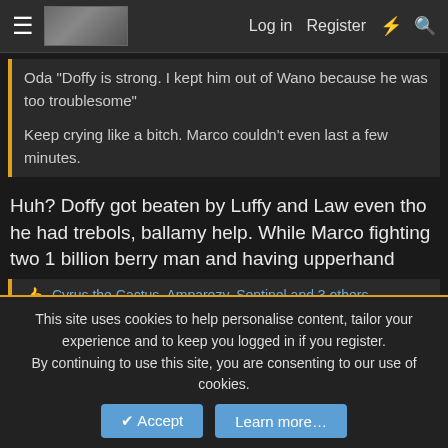Log in  Register
Oda "Doffy is strong. I kept him out of Wano because he was too troublesome"

Keep crying like a bitch. Marco couldn't even last a few minutes.
Huh? Doffy got beaten by Luffy and Law even tho he had trebols, ballamy help. While Marco fighting two 1 billion berry man and having upperhand
Cyrus the Cactus, Amparezy, Sentinel and 3 others
353 of 507
Not open for further replies.
This site uses cookies to help personalise content, tailor your experience and to keep you logged in if you register.
By continuing to use this site, you are consenting to our use of cookies.